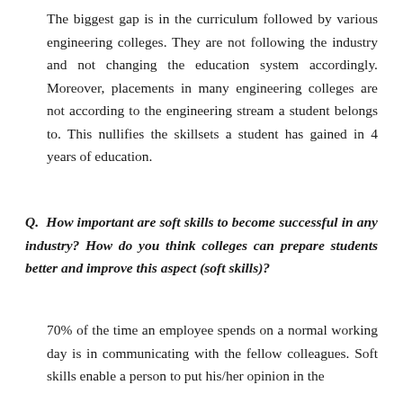The biggest gap is in the curriculum followed by various engineering colleges. They are not following the industry and not changing the education system accordingly. Moreover, placements in many engineering colleges are not according to the engineering stream a student belongs to. This nullifies the skillsets a student has gained in 4 years of education.
Q. How important are soft skills to become successful in any industry? How do you think colleges can prepare students better and improve this aspect (soft skills)?
70% of the time an employee spends on a normal working day is in communicating with the fellow colleagues. Soft skills enable a person to put his/her opinion in the